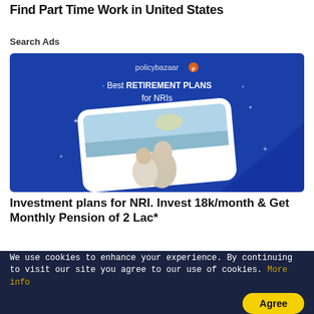Find Part Time Work in United States
Search Ads
[Figure (illustration): PolicyBazaar advertisement showing 'Best RETIREMENT PLANS for NRIs' with an image of an elderly couple sitting together looking at the sea, on a blue background.]
Investment plans for NRI. Invest 18k/month & Get Monthly Pension of 2 Lac*
NRI Investment Plans
We use cookies to enhance your experience. By continuing to visit our site you agree to our use of cookies. More info